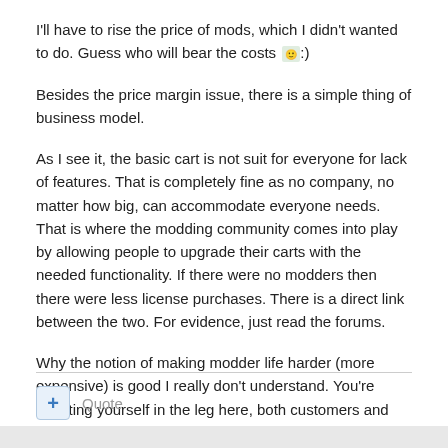I'll have to rise the price of mods, which I didn't wanted to do. Guess who will bear the costs :).
Besides the price margin issue, there is a simple thing of business model.
As I see it, the basic cart is not suit for everyone for lack of features. That is completely fine as no company, no matter how big, can accommodate everyone needs. That is where the modding community comes into play by allowing people to upgrade their carts with the needed functionality. If there were no modders then there were less license purchases. There is a direct link between the two. For evidence, just read the forums.
Why the notion of making modder life harder (more expensive) is good I really don't understand. You're shooting yourself in the leg here, both customers and modders alike.